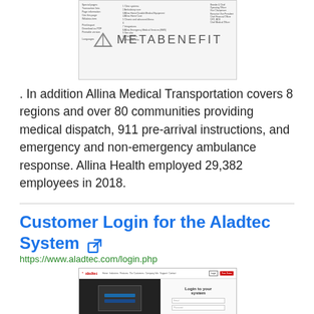[Figure (screenshot): Screenshot of a website page featuring the MetaBenefit logo and navigation elements with small text columns on left and right sides.]
. In addition Allina Medical Transportation covers 8 regions and over 80 communities providing medical dispatch, 911 pre-arrival instructions, and emergency and non-emergency ambulance response. Allina Health employed 29,382 employees in 2018.
Customer Login for the Aladtec System
https://www.aladtec.com/login.php
[Figure (screenshot): Screenshot of the Aladtec website login page showing the aladtec logo navigation bar, a dark left panel with a login form, and a right panel with 'Login to your system' heading and email/password fields.]